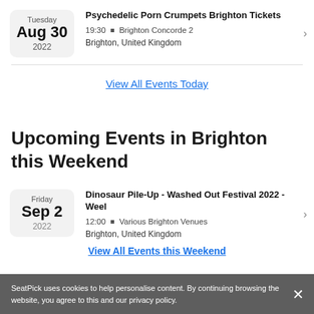Tuesday Aug 30 2022 | Psychedelic Porn Crumpets Brighton Tickets | 19:30 ▪ Brighton Concorde 2 | Brighton, United Kingdom
View All Events Today
Upcoming Events in Brighton this Weekend
Friday Sep 2 2022 | Dinosaur Pile-Up - Washed Out Festival 2022 - Weel | 12:00 ▪ Various Brighton Venues | Brighton, United Kingdom
View All Events this Weekend
SeatPick uses cookies to help personalise content. By continuing browsing the website, you agree to this and our privacy policy.